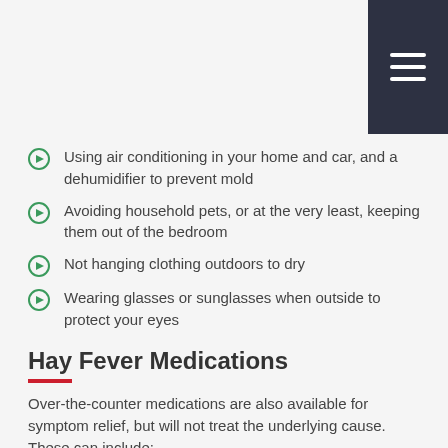Using air conditioning in your home and car, and a dehumidifier to prevent mold
Avoiding household pets, or at the very least, keeping them out of the bedroom
Not hanging clothing outdoors to dry
Wearing glasses or sunglasses when outside to protect your eyes
Hay Fever Medications
Over-the-counter medications are also available for symptom relief, but will not treat the underlying cause. These can include:
Antihistamines (oral, nasal and eye-drop), which block a symptom-causing chemical called histamine
Decongestants, which keep the nasal blood vessels from swelling